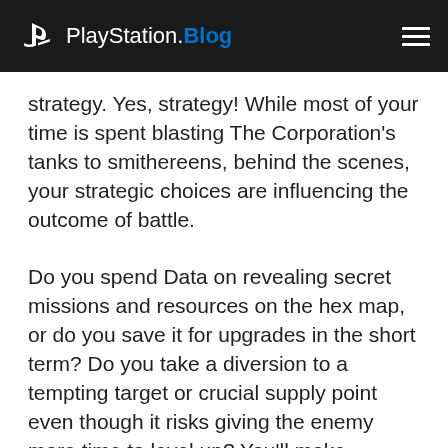PlayStation.Blog
strategy. Yes, strategy! While most of your time is spent blasting The Corporation’s tanks to smithereens, behind the scenes, your strategic choices are influencing the outcome of battle.
Do you spend Data on revealing secret missions and resources on the hex map, or do you save it for upgrades in the short term? Do you take a diversion to a tempting target or crucial supply point even though it risks giving the enemy more time to level up? You’ll make countless decisions like these in every playthrough.